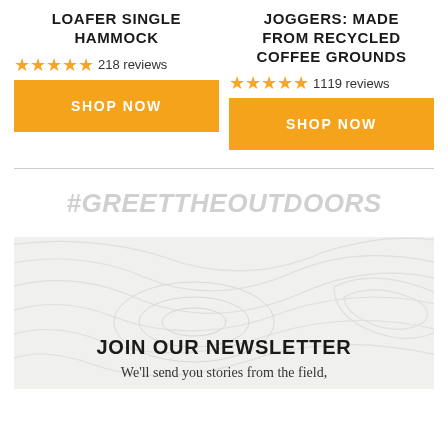LOAFER SINGLE HAMMOCK
★★★★★ 218 reviews
SHOP NOW
JOGGERS: MADE FROM RECYCLED COFFEE GROUNDS
★★★★★ 1119 reviews
SHOP NOW
#GREETTHEOUTDOORS
JOIN OUR NEWSLETTER
We'll send you stories from the field,